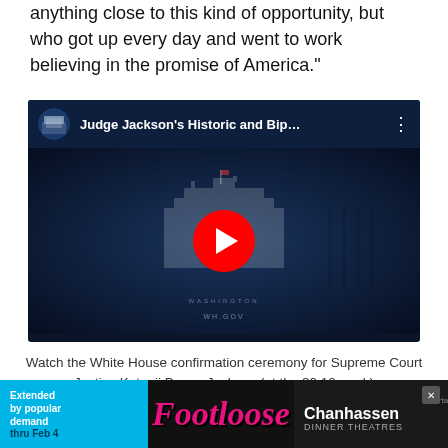anything close to this kind of opportunity, but who got up every day and went to work believing in the promise of America."
[Figure (screenshot): YouTube video thumbnail for 'Judge Jackson's Historic and Bip...' showing a White House background with a red YouTube play button in the center. Published on WH.GOV.]
Watch the White House confirmation ceremony for Supreme Court Justice Ketanji Brown Jackson (at the 29:10 mark)
ident, Joe Biden proudly acknowledged his history-
[Figure (other): Advertisement banner for Footloose at Chanhassen Dinner Theatres. 'Extended by popular demand thru Feb 4'. Footloose logo in pink italic script. Chanhassen Dinner Theatres branding on right.]